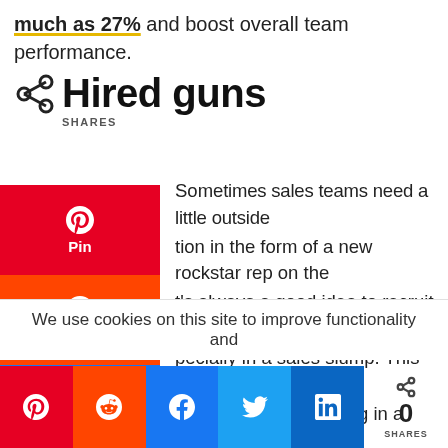much as 27% and boost overall team performance.
Hired guns
34 SHARES
Sometimes sales teams need a little outside inspiration in the form of a new rockstar rep on the team. It's always a good idea to recruit 'A' players, especially in a sales slump. This may seem counterintuitive, but investing in a top player when sales are down can get the team out of a slump by motivating all the reps on the team to up their game. It can also bring in a much-needed outside
We use cookies on this site to improve functionality and